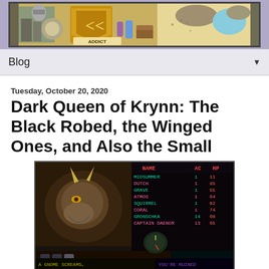CRPG Addict blog header banner
Blog ▼
Tuesday, October 20, 2020
Dark Queen of Krynn: The Black Robed, the Winged Ones, and Also the Small
[Figure (screenshot): Retro RPG game screenshot showing Dark Queen of Krynn character roster screen with dragon portrait on left and character list on right showing names: MIDSUMMER, DUTCH, GRAVE, ATMOS, SQUIRREL, CORAL, GRONSCHKA, CAPTAIN DAENOR with AC and HP stats. Bottom shows time 6:10 PM and text A GNOME SCREAMS, YOU'RE RUINED]